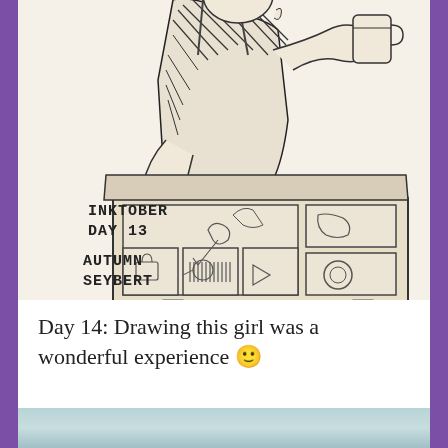[Figure (illustration): Ink sketch drawing of a young girl leaning over a box or cabinet with multiple compartments/drawers containing small objects. The girl has her hair up and is wearing a sleeveless top. She holds something in her right hand. Text in the drawing reads: INKTOBER DAY 13 AUTUMN SEYBERT.]
Day 14: Drawing this girl was a wonderful experience 🙂
[Figure (photo): Bottom portion of another image, partially visible, showing a blurred blue-gray and teal colored scene.]